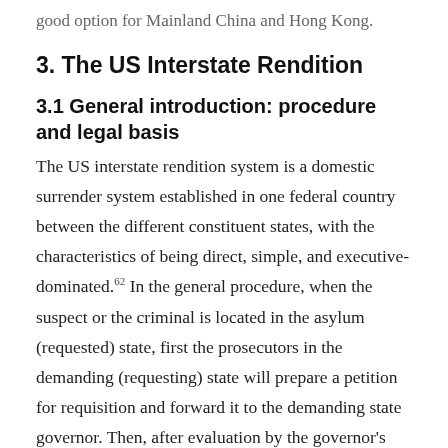good option for Mainland China and Hong Kong.
3. The US Interstate Rendition
3.1 General introduction: procedure and legal basis
The US interstate rendition system is a domestic surrender system established in one federal country between the different constituent states, with the characteristics of being direct, simple, and executive-dominated.62 In the general procedure, when the suspect or the criminal is located in the asylum (requested) state, first the prosecutors in the demanding (requesting) state will prepare a petition for requisition and forward it to the demanding state governor. Then, after evaluation by the governor's counsel, the governor will sign that requisition and